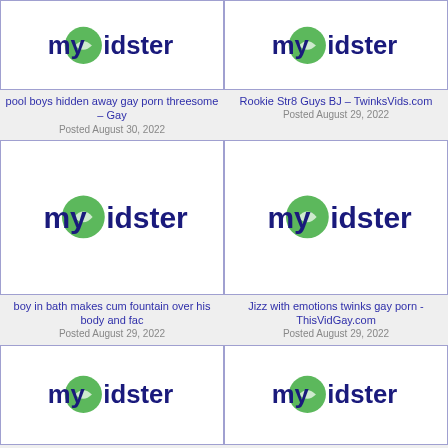[Figure (screenshot): MyVidster logo placeholder thumbnail - top left]
pool boys hidden away gay porn threesome – Gay
Posted August 30, 2022
[Figure (screenshot): MyVidster logo placeholder thumbnail - top right]
Rookie Str8 Guys BJ – TwinksVids.com
Posted August 29, 2022
[Figure (screenshot): MyVidster logo placeholder thumbnail - middle left]
boy in bath makes cum fountain over his body and fac
Posted August 29, 2022
[Figure (screenshot): MyVidster logo placeholder thumbnail - middle right]
Jizz with emotions twinks gay porn - ThisVidGay.com
Posted August 29, 2022
[Figure (screenshot): MyVidster logo placeholder thumbnail - bottom left]
[Figure (screenshot): MyVidster logo placeholder thumbnail - bottom right]